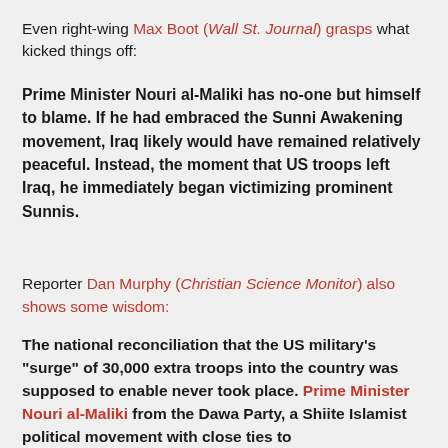Even right-wing Max Boot (Wall St. Journal) grasps what kicked things off:
Prime Minister Nouri al-Maliki has no-one but himself to blame. If he had embraced the Sunni Awakening movement, Iraq likely would have remained relatively peaceful. Instead, the moment that US troops left Iraq, he immediately began victimizing prominent Sunnis.
Reporter Dan Murphy (Christian Science Monitor) also shows some wisdom:
The national reconciliation that the US military's "surge" of 30,000 extra troops into the country was supposed to enable never took place. Prime Minister Nouri al-Maliki from the Dawa Party, a Shiite Islamist political movement with close ties to